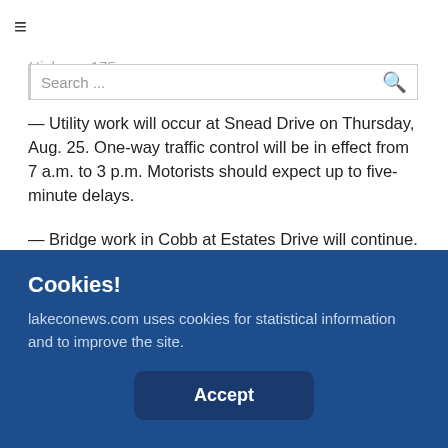way traffic control will be in effect. Motorists should anticipate up to 10-minute delays.
Highway 175 | Search...
— Utility work will occur at Snead Drive on Thursday, Aug. 25. One-way traffic control will be in effect from 7 a.m. to 3 p.m. Motorists should expect up to five-minute delays.
— Bridge work in Cobb at Estates Drive will continue. One-way traffic control will be in effect from 6 a.m. to 6 p.m. Motorists should expect up to 10-minute delays.
Cookies!
lakeconews.com uses cookies for statistical information and to improve the site.
Accept